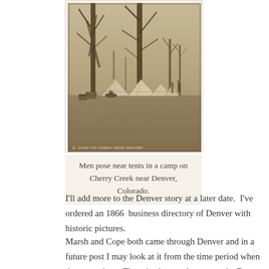[Figure (photo): Sepia-toned historical photograph of men posing near tents in a camp on Cherry Creek near Denver, Colorado. Bare trees in the background, open field, tents visible in middle ground. Caption text at bottom of photo reads 'E. CAMP ON CREEK NEAR DENVER-']
Men pose near tents in a camp on Cherry Creek near Denver, Colorado.
I'll add more to the Denver story at a later date.  I've ordered an 1866  business directory of Denver with historic pictures.
Marsh and Cope both came through Denver and in a future post I may look at it from the time period when they were here. There is also much more to the Denver story for Marshall and